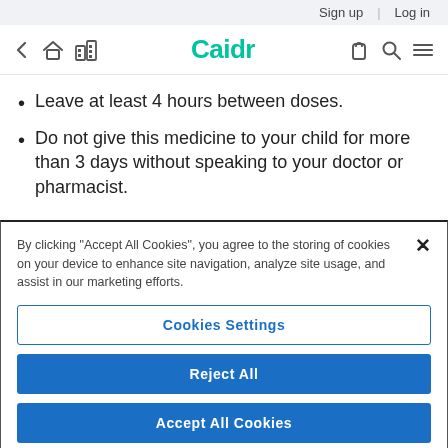Sign up | Log in
Caidr (navigation bar with back, home, grid icons, and bag, search, menu icons)
Leave at least 4 hours between doses.
Do not give this medicine to your child for more than 3 days without speaking to your doctor or pharmacist.
By clicking “Accept All Cookies”, you agree to the storing of cookies on your device to enhance site navigation, analyze site usage, and assist in our marketing efforts.
Cookies Settings
Reject All
Accept All Cookies